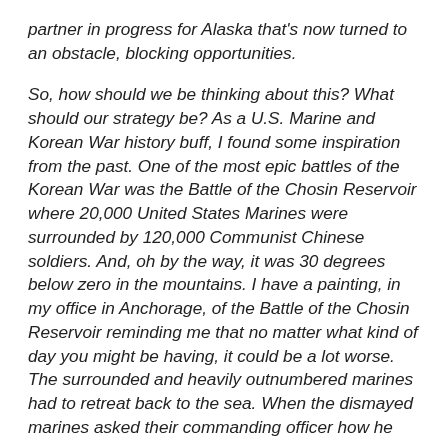partner in progress for Alaska that's now turned to an obstacle, blocking opportunities.
So, how should we be thinking about this? What should our strategy be? As a U.S. Marine and Korean War history buff, I found some inspiration from the past. One of the most epic battles of the Korean War was the Battle of the Chosin Reservoir where 20,000 United States Marines were surrounded by 120,000 Communist Chinese soldiers. And, oh by the way, it was 30 degrees below zero in the mountains. I have a painting, in my office in Anchorage, of the Battle of the Chosin Reservoir reminding me that no matter what kind of day you might be having, it could be a lot worse. The surrounded and heavily outnumbered marines had to retreat back to the sea. When the dismayed marines asked their commanding officer how he